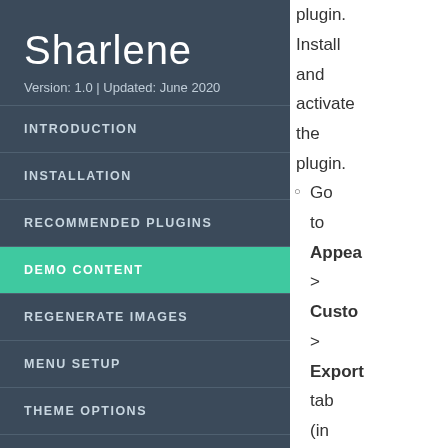Sharlene
Version: 1.0 | Updated: June 2020
INTRODUCTION
INSTALLATION
RECOMMENDED PLUGINS
DEMO CONTENT
REGENERATE IMAGES
MENU SETUP
THEME OPTIONS
plugin. Install and activate the plugin. Go to Appearance > Customizer > Export tab (in the and